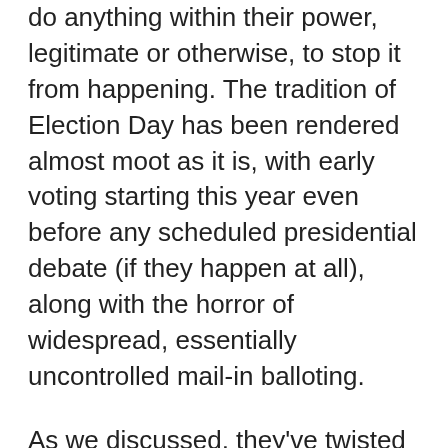do anything within their power, legitimate or otherwise, to stop it from happening. The tradition of Election Day has been rendered almost moot as it is, with early voting starting this year even before any scheduled presidential debate (if they happen at all), along with the horror of widespread, essentially uncontrolled mail-in balloting.
As we discussed, they've twisted the whole plot to make it seems as though TRUMP is the one who will resist the will of the people, as though it's TRUMP who will destroy the public's faith in the system, when they are the ones openly